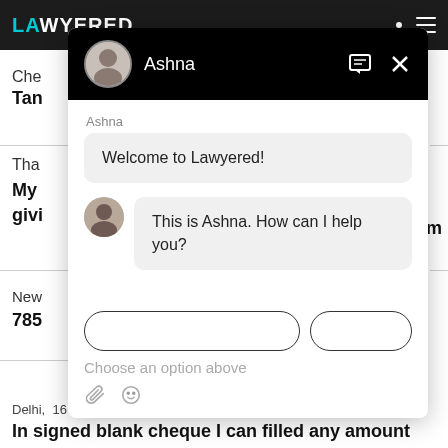[Figure (screenshot): Lawyered website with a chat widget overlay. The chat widget shows an agent named Ashna with messages: 'Welcome to Lawyered!' and 'This is Ashna. How can I help you?' and a 'Choose an option above' input placeholder. Background shows partial legal content and navigation bar.]
Che
Tan
Tha
My givi
om
New
785
Delhi, 16 Sep, 2021, (11 months, 3 weeks ago)
In signed blank cheque I can filled any amount